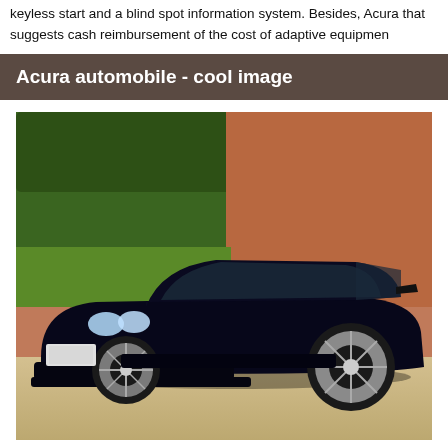keyless start and a blind spot information system. Besides, Acura that suggests cash reimbursement of the cost of adaptive equipmen
Acura automobile - cool image
[Figure (photo): A black Acura sports car (Integra) lowered and customized with aftermarket wheels, parked in front of a brick wall with trees visible in the upper left background.]